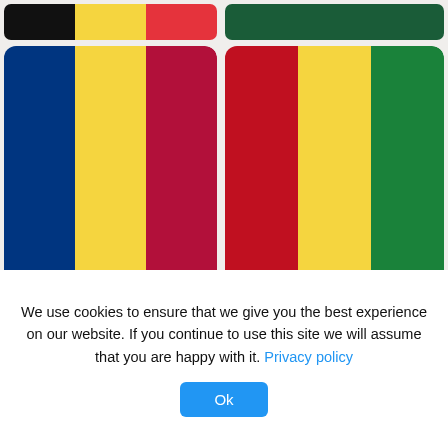[Figure (illustration): Grid of flag color swatches: partial Belgium flag (black, yellow, red), partial dark green flag, Chad/Romania-style flag (blue, yellow, red), Guinea/Mali-style flag (red, yellow, green), partial Estonia/flag (black with blue triangle), partial Zimbabwe flag (green, yellow, red stripes with bird emblem)]
We use cookies to ensure that we give you the best experience on our website. If you continue to use this site we will assume that you are happy with it. Privacy policy
Ok